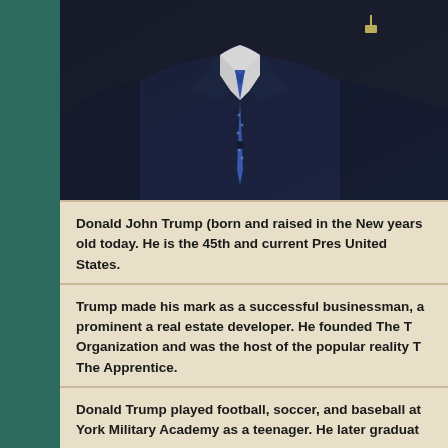[Figure (photo): Photograph of a person in a dark navy suit with a blue patterned tie and white shirt, cropped to show chest/torso area with a small pin on lapel. Background is dark.]
Donald John Trump (born and raised in the New years old today. He is the 45th and current Pres United States.
Trump made his mark as a successful businessman, a prominent a real estate developer. He founded The T Organization and was the host of the popular reality T The Apprentice.
Donald Trump played football, soccer, and baseball at York Military Academy as a teenager. He later graduat